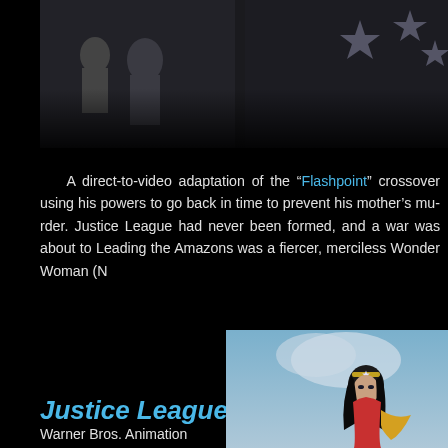[Figure (illustration): Animated scene showing characters from DC animated film, dark background with figures in action poses, stars visible]
A direct-to-video adaptation of the “Flashpoint” crossover using his powers to go back in time to prevent his mother’s murder. Justice League had never been formed, and a war was about to Leading the Amazons was a fiercer, merciless Wonder Woman (N
Justice League: War (2014)
Warner Bros. Animation
[Figure (illustration): Animated Wonder Woman character with black hair and tiara, flying or in action pose against a blue/grey sky background]